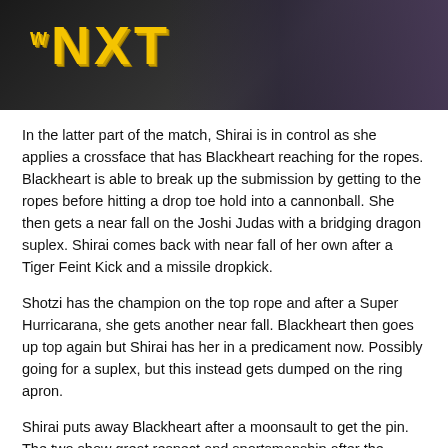[Figure (photo): WWE NXT logo banner with wrestlers in background on dark background]
In the latter part of the match, Shirai is in control as she applies a crossface that has Blackheart reaching for the ropes. Blackheart is able to break up the submission by getting to the ropes before hitting a drop toe hold into a cannonball. She then gets a near fall on the Joshi Judas with a bridging dragon suplex. Shirai comes back with near fall of her own after a Tiger Feint Kick and a missile dropkick.
Shotzi has the champion on the top rope and after a Super Hurricarana, she gets another near fall. Blackheart then goes up top again but Shirai has her in a predicament now. Possibly going for a suplex, but this instead gets dumped on the ring apron.
Shirai puts away Blackheart after a moonsault to get the pin. The two show great respect and sportsmanship after the match.